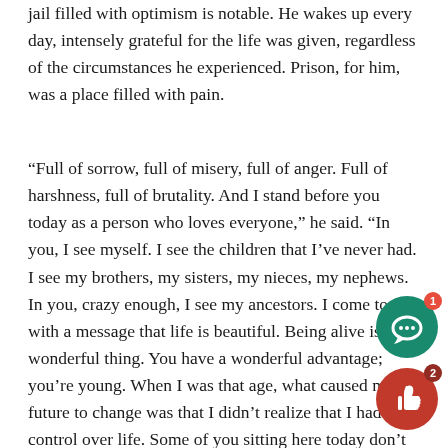jail filled with optimism is notable. He wakes up every day, intensely grateful for the life was given, regardless of the circumstances he experienced. Prison, for him, was a place filled with pain.
“Full of sorrow, full of misery, full of anger. Full of harshness, full of brutality. And I stand before you today as a person who loves everyone,” he said. “In you, I see myself. I see the children that I’ve never had. I see my brothers, my sisters, my nieces, my nephews. In you, crazy enough, I see my ancestors. I come to you with a message that life is beautiful. Being alive is a wonderful thing. You have a wonderful advantage; you’re young. When I was that age, what caused my future to change was that I didn’t realize that I had control over life. Some of you sitting here today don’t realize that you have control over your life. Once you do realize it, you start taking charge, and you start making the right kinds of decisions.”